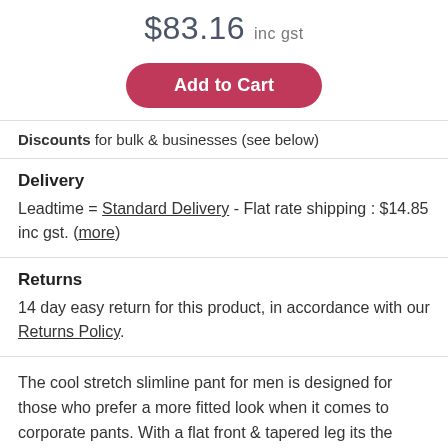$83.16 inc gst
[Figure (other): Add to Cart button (pink/red rounded button)]
Discounts for bulk & businesses (see below)
Delivery
Leadtime = Standard Delivery - Flat rate shipping : $14.85 inc gst. (more)
Returns
14 day easy return for this product, in accordance with our Returns Policy.
The cool stretch slimline pant for men is designed for those who prefer a more fitted look when it comes to corporate pants. With a flat front & tapered leg its the ideal choice for the office.